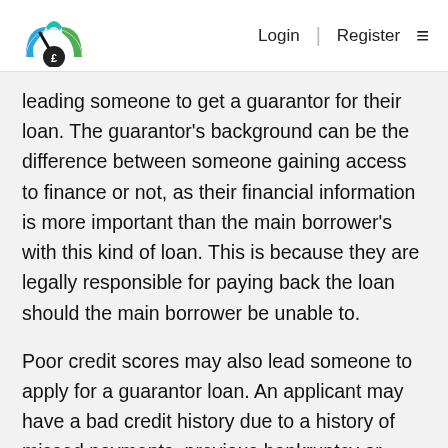Login | Register ☰
leading someone to get a guarantor for their loan. The guarantor's background can be the difference between someone gaining access to finance or not, as their financial information is more important than the main borrower's with this kind of loan. This is because they are legally responsible for paying back the loan should the main borrower be unable to.
Poor credit scores may also lead someone to apply for a guarantor loan. An applicant may have a bad credit history due to a history of missed payments, previous bankruptcy or CCJs on their credit file, to name but a few reasons. the creditworthiness of the main borrower is therefore less important.